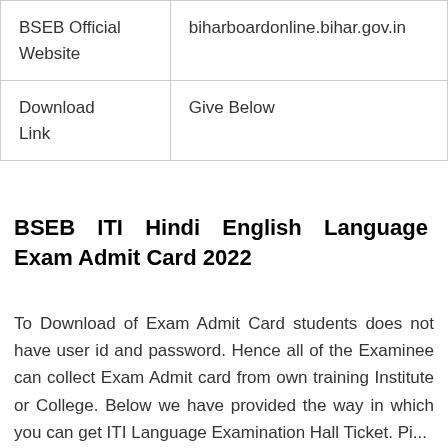| BSEB Official Website | biharboardonline.bihar.gov.in |
| Download Link | Give Below |
BSEB ITI Hindi English Language Exam Admit Card 2022
To Download of Exam Admit Card students does not have user id and password. Hence all of the Examinee can collect Exam Admit card from own training Institute or College. Below we have provided the way in which you can get ITI Language Examination Hall Ticket. Please note that below will be provided steps and details...